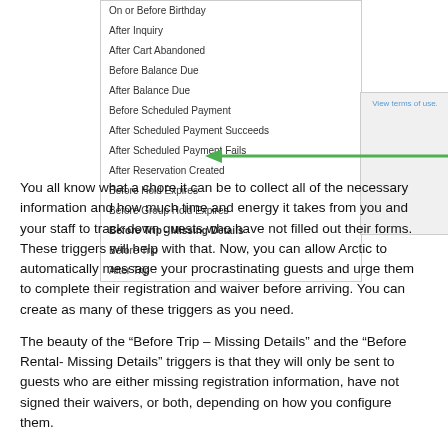[Figure (screenshot): Screenshot of a dropdown menu listing trigger options including 'On or Before Birthday', 'After Inquiry', 'After Cart Abandoned', 'Before Balance Due', 'After Balance Due', 'Before Scheduled Payment', 'After Scheduled Payment Succeeds', 'After Scheduled Payment Fails', 'After Reservation Created', 'Before Hold Expires', 'Before Group Hold Expires', 'Before Trip - Missing Details' (highlighted with a green arrow pointing to it), 'Before Trip', 'After Trip'. A gray panel on the right shows 'View terms of use.' A green arrow points left to 'Before Trip - Missing Details'.]
You all know what a chore it can be to collect all of the necessary information and how much time and energy it takes from you and your staff to track down guests who have not filled out their forms. These triggers will help with that. Now, you can allow Arctic to automatically message your procrastinating guests and urge them to complete their registration and waiver before arriving. You can create as many of these triggers as you need.
The beauty of the “Before Trip – Missing Details” and the “Before Rental- Missing Details” triggers is that they will only be sent to guests who are either missing registration information, have not signed their waivers, or both, depending on how you configure them.